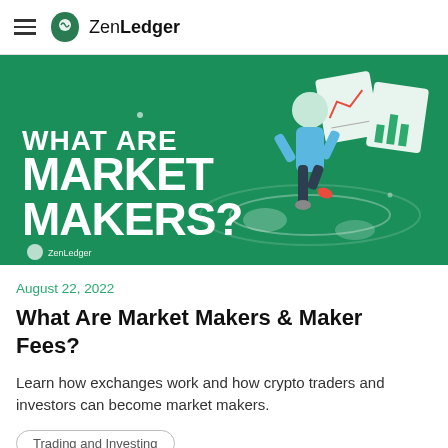ZenLedger
[Figure (illustration): Green promotional banner with white bold text reading 'WHAT ARE MARKET MAKERS?' with a ZenLedger logo in the bottom left, and a cartoon figure of a person balancing on one leg surrounded by financial charts and documents on a green background.]
August 22, 2022
What Are Market Makers & Maker Fees?
Learn how exchanges work and how crypto traders and investors can become market makers.
Trading and Investing